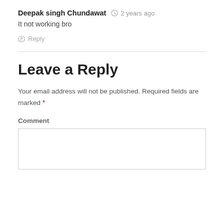Deepak singh Chundawat  2 years ago
It not working bro
Reply
Leave a Reply
Your email address will not be published. Required fields are marked *
Comment